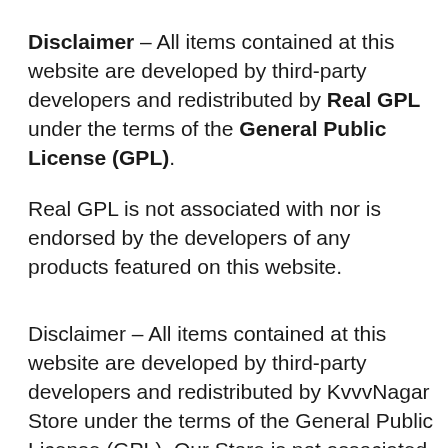Disclaimer – All items contained at this website are developed by third-party developers and redistributed by Real GPL under the terms of the General Public License (GPL).
Real GPL is not associated with nor is endorsed by the developers of any products featured on this website.
Disclaimer – All items contained at this website are developed by third-party developers and redistributed by KvvvNagar Store under the terms of the General Public License (GPL). Our Store is not associated with nor is endorsed by the developers of any products featured on this website.